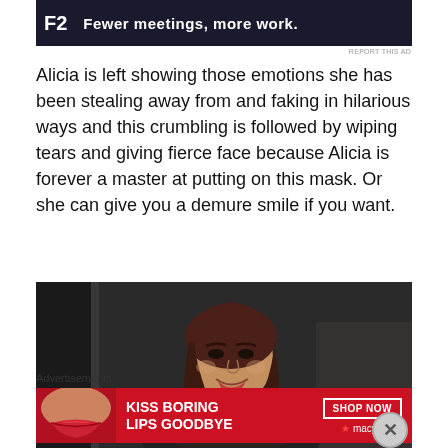[Figure (other): Advertisement banner with dark navy background showing text 'F2 Fewer meetings, more work.' in white bold font]
REPORT THIS AD
Alicia is left showing those emotions she has been stealing away from and faking in hilarious ways and this crumbling is followed by wiping tears and giving fierce face because Alicia is forever a master at putting on this mask. Or she can give you a demure smile if you want.
[Figure (photo): A woman with dark reddish-brown hair, wearing a dark patterned top, smiling demurely. The background is dark/dim.]
Advertisements
[Figure (other): Macy's advertisement with red background showing text 'KISS BORING LIPS GOODBYE' with a woman's lips image, 'SHOP NOW' button and Macy's star logo]